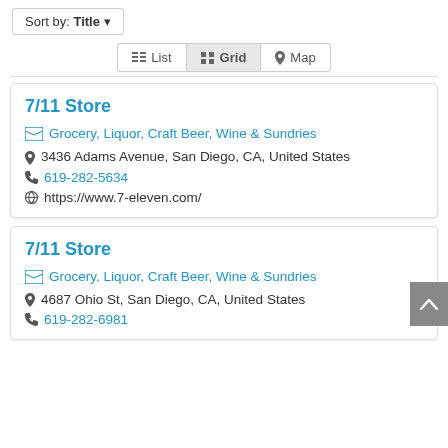Sort by: Title ▾
List  Grid  Map
7/11 Store
Grocery, Liquor, Craft Beer, Wine & Sundries
3436 Adams Avenue, San Diego, CA, United States
619-282-5634
https://www.7-eleven.com/
7/11 Store
Grocery, Liquor, Craft Beer, Wine & Sundries
4687 Ohio St, San Diego, CA, United States
619-282-6981